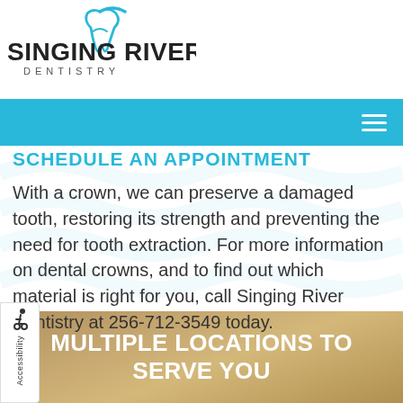[Figure (logo): Singing River Dentistry logo with stylized tooth and wave icon in blue]
[Figure (other): Blue navigation bar with hamburger menu icon on the right]
SCHEDULE AN APPOINTMENT
With a crown, we can preserve a damaged tooth, restoring its strength and preventing the need for tooth extraction. For more information on dental crowns, and to find out which material is right for you, call Singing River Dentistry at 256-712-3549 today.
MULTIPLE LOCATIONS TO SERVE YOU
[Figure (other): Accessibility sidebar with wheelchair icon and vertical Accessibility text]